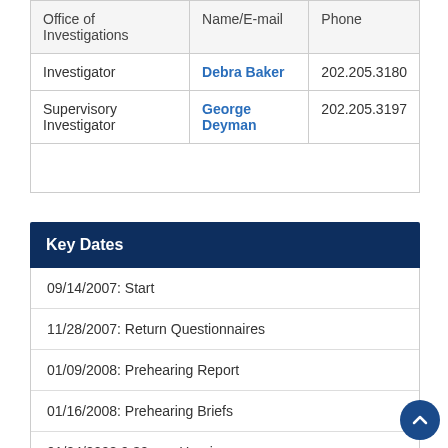| Office of Investigations | Name/E-mail | Phone |
| --- | --- | --- |
| Investigator | Debra Baker | 202.205.3180 |
| Supervisory Investigator | George Deyman | 202.205.3197 |
|  |  |  |
Key Dates
09/14/2007: Start
11/28/2007: Return Questionnaires
01/09/2008: Prehearing Report
01/16/2008: Prehearing Briefs
01/24/2008 9:30 am: Hearing